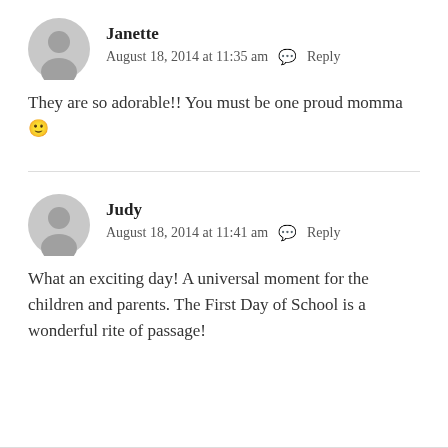Janette
August 18, 2014 at 11:35 am  Reply
They are so adorable!! You must be one proud momma 🙂
Judy
August 18, 2014 at 11:41 am  Reply
What an exciting day! A universal moment for the children and parents. The First Day of School is a wonderful rite of passage!